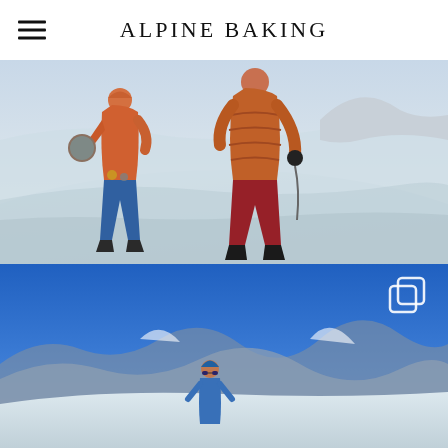ALPINE BAKING
[Figure (photo): Two climbers in orange jackets standing on a snowy mountain slope. One wears blue pants and holds a round reflective object (bread loaf). The other wears red pants and carries climbing gear. Snow-covered mountains visible in background.]
[Figure (photo): A person standing on a snowy mountain summit with blue sky and distant snow-capped mountain ranges below. A copy/collection icon is visible in the upper right corner.]